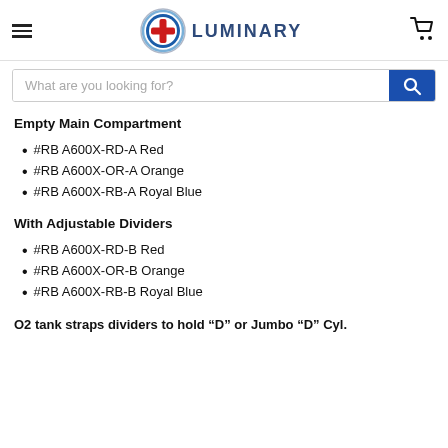LUMINARY
What are you looking for?
Empty Main Compartment
#RB A600X-RD-A Red
#RB A600X-OR-A Orange
#RB A600X-RB-A Royal Blue
With Adjustable Dividers
#RB A600X-RD-B Red
#RB A600X-OR-B Orange
#RB A600X-RB-B Royal Blue
O2 tank straps dividers to hold “D” or Jumbo “D” Cyl.